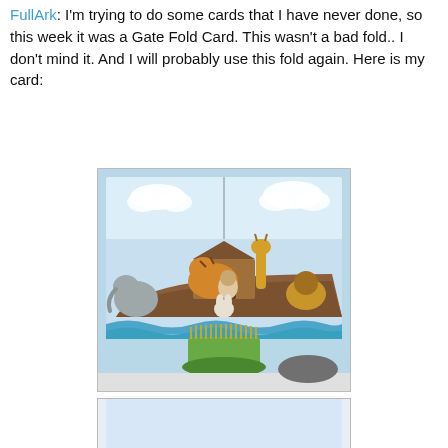FullArk: I'm trying to do some cards that I have never done, so this week it was a Gate Fold Card. This wasn't a bad fold.. I don't mind it. And I will probably use this fold again. Here is my card:
[Figure (photo): Photo of a handmade Gate Fold Card featuring Noah's Ark scene with animals (elephant, tiger, giraffe, lion, rabbit, etc.) and Noah, set on blue waves, displayed standing upright on a green floral frog holder on a white surface outdoors.]
[Figure (photo): Partial view of another card or the inside of the Gate Fold Card, showing blue background with white panel edges visible.]